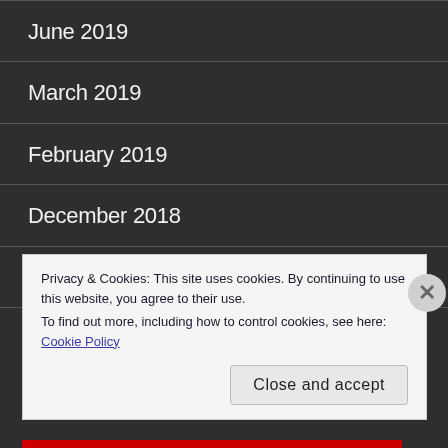June 2019
March 2019
February 2019
December 2018
October 2018
September 2018
Privacy & Cookies: This site uses cookies. By continuing to use this website, you agree to their use.
To find out more, including how to control cookies, see here: Cookie Policy
Close and accept